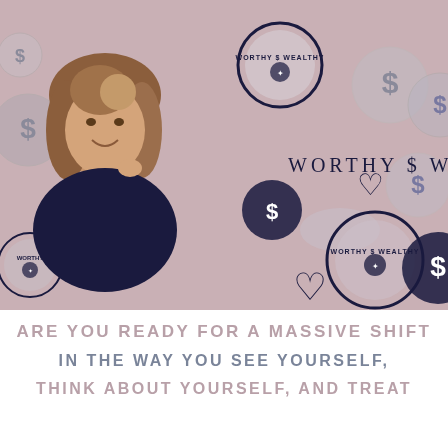[Figure (photo): A woman with brown wavy hair smiling, wearing a dark navy top, posed against a mauve/dusty rose background decorated with dark navy hand-drawn hearts, dollar sign coins (gray circles with $ symbols), and circular brand logos for 'Worthy $ Wealthy'. The brand name 'WORTHY $ WEALTHY' is displayed in spaced serif lettering in dark navy on the right side of the banner.]
ARE YOU READY FOR A MASSIVE SHIFT
IN THE WAY YOU SEE YOURSELF,
THINK ABOUT YOURSELF, AND TREAT